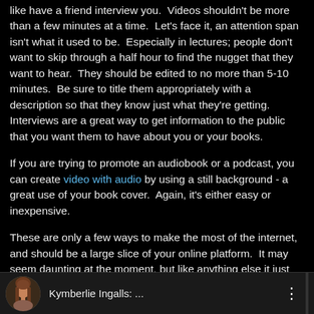like have a friend interview you.  Videos shouldn't be more than a few minutes at a time.  Let's face it, an attention span isn't what it used to be.  Especially in lectures; people don't want to skip through a half hour to find the nugget that they want to hear.  They should be edited to no more than 5-10 minutes.  Be sure to title them appropriately with a description so that they know just what they're getting.  Interviews are a great way to get information to the public that you want them to have about you or your books.
If you are trying to promote an audiobook or a podcast, you can create video with audio by using a still background - a great use of your book cover.  Again, it's either easy or inexpensive.
These are only a few ways to make the most of the internet, and should be a large slice of your online platform.  It may seem daunting at the moment, but like anything else it just needs some roping lessons to control it.
[Figure (photo): Bottom bar showing a circular avatar photo of a person with long hair (Kymberlie Ingalls), followed by the text 'Kymberlie Ingalls: ...' and a vertical three-dot menu icon]